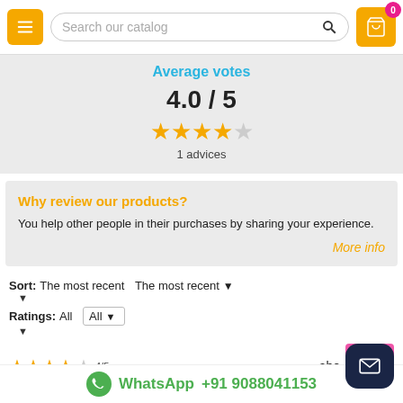Search our catalog
Average votes
4.0 / 5
1 advices
Why review our products?
You help other people in their purchases by sharing your experience.
More info
Sort: The most recent  The most recent
Ratings: All  All
4/5  abo
WhatsApp +91 9088041153